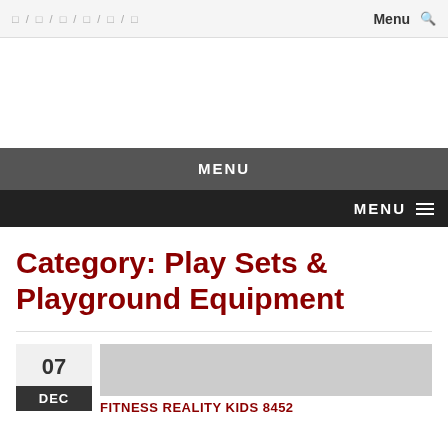□ / □ / □ / □ / □ / □   Menu  🔍
MENU
MENU ≡
Category: Play Sets & Playground Equipment
07
DEC
FITNESS REALITY KIDS 8452